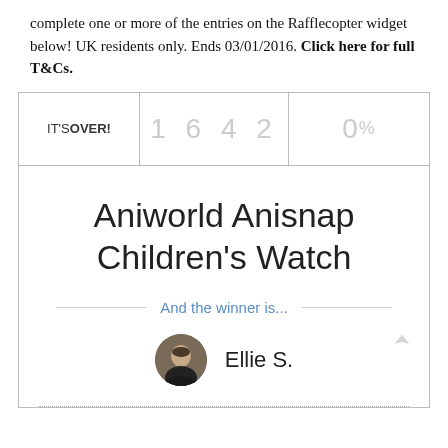complete one or more of the entries on the Rafflecopter widget below! UK residents only. Ends 03/01/2016. Click here for full T&Cs.
[Figure (screenshot): Rafflecopter giveaway widget showing 'IT'S OVER!' with 1642 entries, 0% remaining, prize title 'Aniworld Anisnap Children's Watch', 'And the winner is...' text, and winner 'Ellie S.' with avatar photo.]